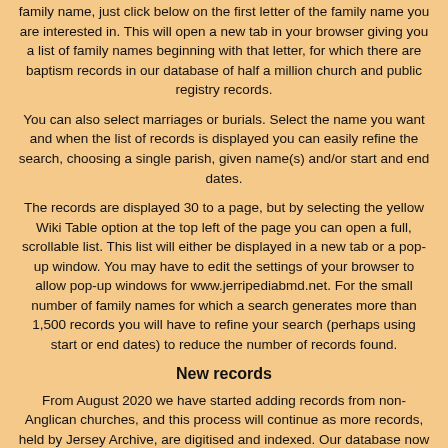family name, just click below on the first letter of the family name you are interested in. This will open a new tab in your browser giving you a list of family names beginning with that letter, for which there are baptism records in our database of half a million church and public registry records.
You can also select marriages or burials. Select the name you want and when the list of records is displayed you can easily refine the search, choosing a single parish, given name(s) and/or start and end dates.
The records are displayed 30 to a page, but by selecting the yellow Wiki Table option at the top left of the page you can open a full, scrollable list. This list will either be displayed in a new tab or a pop-up window. You may have to edit the settings of your browser to allow pop-up windows for www.jerripediabmd.net. For the small number of family names for which a search generates more than 1,500 records you will have to refine your search (perhaps using start or end dates) to reduce the number of records found.
New records
From August 2020 we have started adding records from non-Anglican churches, and this process will continue as more records, held by Jersey Archive, are digitised and indexed. Our database now includes buttons enabling a search within registers of Roman Catholic,